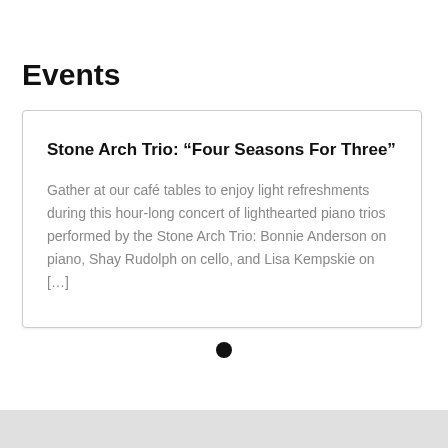Events
Stone Arch Trio: “Four Seasons For Three”
Gather at our café tables to enjoy light refreshments during this hour-long concert of lighthearted piano trios performed by the Stone Arch Trio: Bonnie Anderson on piano, Shay Rudolph on cello, and Lisa Kempskie on […]